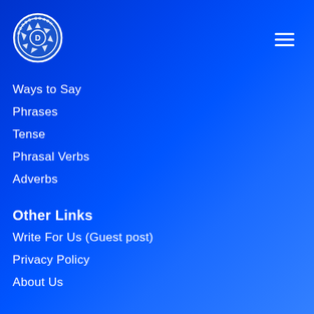[Figure (logo): Words Coach circular logo with camera aperture design and letter D in center]
Ways to Say
Phrases
Tense
Phrasal Verbs
Adverbs
Other Links
Write For Us (Guest post)
Privacy Policy
About Us